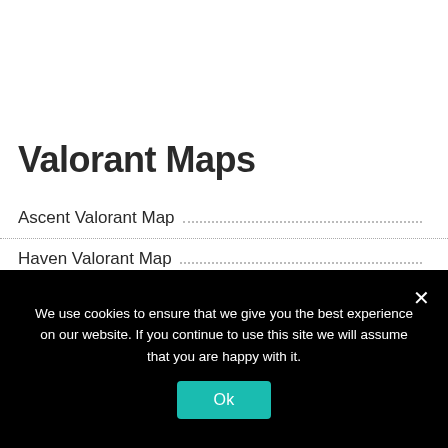Valorant Maps
Ascent Valorant Map
Haven Valorant Map
Bind Valorant Map
We use cookies to ensure that we give you the best experience on our website. If you continue to use this site we will assume that you are happy with it.